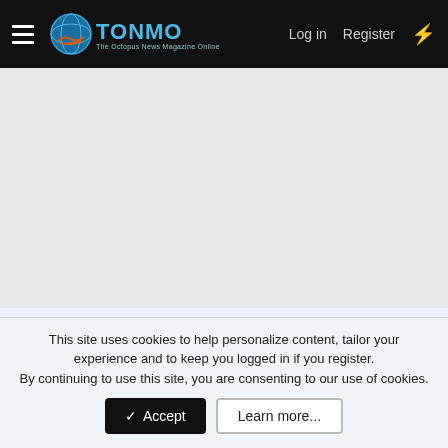TONMO | Log in | Register
[Figure (screenshot): Advertisement placeholder area (gray background)]
Latest Forum Posts
Hello!
Latest: tonmo · Yesterday at 7:53 PM
Introduce Yourself
This site uses cookies to help personalize content, tailor your experience and to keep you logged in if you register.
By continuing to use this site, you are consenting to our use of cookies.
[Accept] [Learn more...]